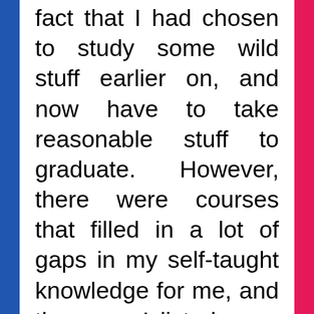fact that I had chosen to study some wild stuff earlier on, and now have to take reasonable stuff to graduate. However, there were courses that filled in a lot of gaps in my self-taught knowledge for me, and the ones I listed were the top ones in that regard. I wound up